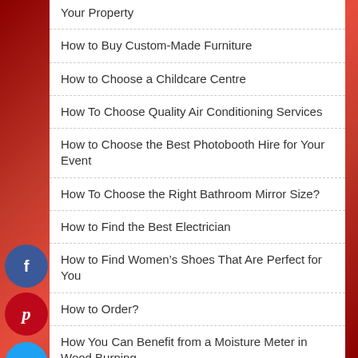Your Property
How to Buy Custom-Made Furniture
How to Choose a Childcare Centre
How To Choose Quality Air Conditioning Services
How to Choose the Best Photobooth Hire for Your Event
How To Choose the Right Bathroom Mirror Size?
How to Find the Best Electrician
How to Find Women's Shoes That Are Perfect for You
How to Order?
How You Can Benefit from a Moisture Meter in Wood Burning
Impact Wrench Review
Important Factors to Consider When Choosing…